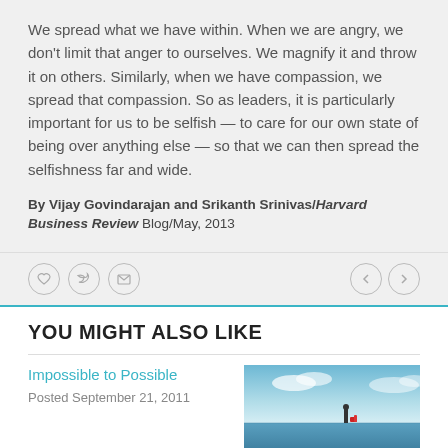We spread what we have within. When we are angry, we don't limit that anger to ourselves. We magnify it and throw it on others. Similarly, when we have compassion, we spread that compassion. So as leaders, it is particularly important for us to be selfish — to care for our own state of being over anything else — so that we can then spread the selfishness far and wide.
By Vijay Govindarajan and Srikanth Srinivas/Harvard Business Review Blog/May, 2013
[Figure (other): Social sharing icons (like, Twitter, email) and navigation arrows (previous, next) in a light gray bar]
YOU MIGHT ALSO LIKE
Impossible to Possible
Posted September 21, 2011
[Figure (photo): Outdoor scene with a person standing on a frozen or icy landscape near water, with a red umbrella or bag visible, blue sky with clouds]